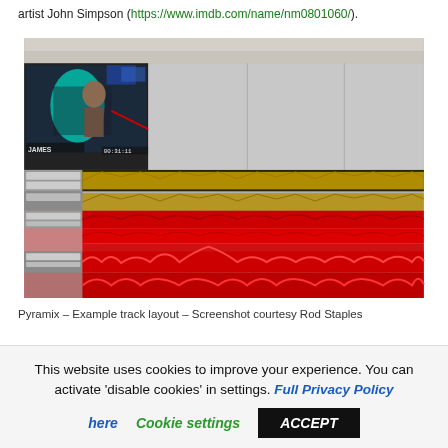artist John Simpson (https://www.imdb.com/name/nm0801060/).
[Figure (screenshot): Pyramix DAW software showing a multi-track audio editing session with video preview window in top-left, multiple audio waveform tracks in gold/yellow and red colors across the timeline]
Pyramix – Example track layout – Screenshot courtesy Rod Staples
This website uses cookies to improve your experience. You can activate 'disable cookies' in settings. Full Privacy Policy here Cookie settings ACCEPT